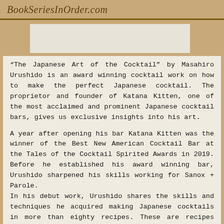BookSeriesInOrder.com
[Figure (photo): Book cover image placeholder for The Japanese Art of the Cocktail]
“The Japanese Art of the Cocktail” by Masahiro Urushido is an award winning cocktail work on how to make the perfect Japanese cocktail. The proprietor and founder of Katana Kitten, one of the most acclaimed and prominent Japanese cocktail bars, gives us exclusive insights into his art.
A year after opening his bar Katana Kitten was the winner of the Best New American Cocktail Bar at the Tales of the Cocktail Spirited Awards in 2019. Before he established his award winning bar, Urushido sharpened his skills working for Sanox + Parole.
In his debut work, Urushido shares the skills and techniques he acquired making Japanese cocktails in more than eighty recipes. These are recipes that explore the best of Japanese cocktails that have changed the cocktail scene in New York. They are recipes which he has invented or modified himself while some are the